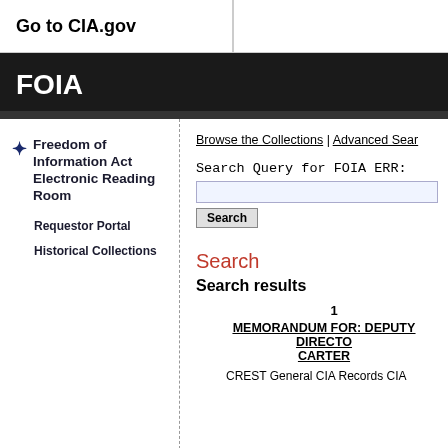Go to CIA.gov
FOIA
Browse the Collections | Advanced Sear
Freedom of Information Act Electronic Reading Room
Requestor Portal
Historical Collections
Search Query for FOIA ERR:
Search
Search results
1
MEMORANDUM FOR: DEPUTY DIRECTO CARTER
CREST General CIA Records CIA